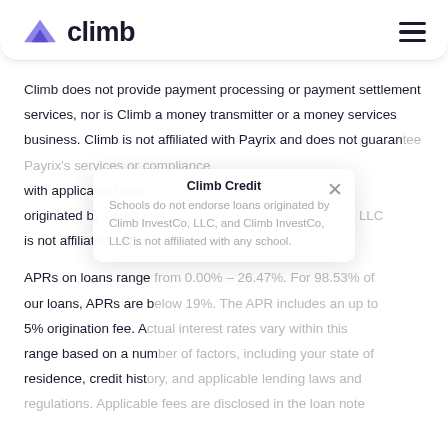climb
Climb does not provide payment processing or payment settlement services, nor is Climb a money transmitter or a money services business. Climb is not affiliated with Payrix and does not guarantee Payrix’s services or compliance with applicable laws. Schools do not endorse loans originated by Climb InvestCo, LLC, and Climb InvestCo, LLC is not affiliated with any school.
APRs on loans range from 0.00% – 26.47%. For 98.53% of our loans, APRs are below 19%. The APR includes an up to 5% origination fee. Actual interest rates vary within this range based on a number of factors, including your state of residence, credit history, and applicable lending laws and regulations. Applicable fees are disclosed in the loan note.